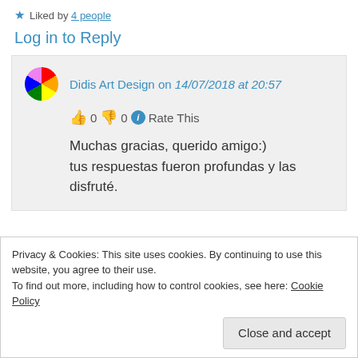★ Liked by 4 people
Log in to Reply
Didis Art Design on 14/07/2018 at 20:57
👍 0 👎 0 ℹ Rate This
Muchas gracias, querido amigo:) tus respuestas fueron profundas y las disfruté.
Privacy & Cookies: This site uses cookies. By continuing to use this website, you agree to their use.
To find out more, including how to control cookies, see here: Cookie Policy
Close and accept